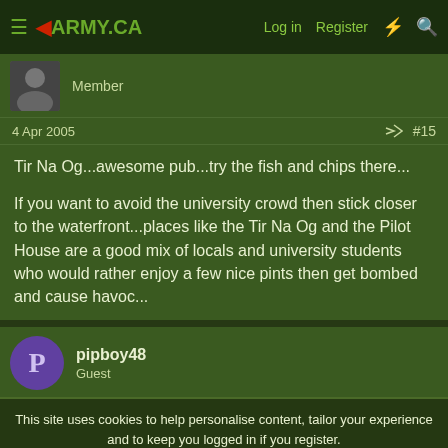ARMY.CA — Log in  Register
Member
4 Apr 2005  #15
Tir Na Og...awesome pub...try the fish and chips there...

If you want to avoid the university crowd then stick closer to the waterfront...places like the Tir Na Og and the Pilot House are a good mix of locals and university students who would rather enjoy a few nice pints then get bombed and cause havoc...
pipboy48
Guest
This site uses cookies to help personalise content, tailor your experience and to keep you logged in if you register.
By continuing to use this site, you are consenting to our use of cookies.